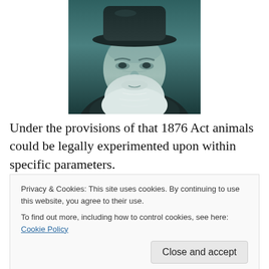[Figure (photo): Black and white portrait photograph of an elderly bearded man (Charles Darwin) wearing a dark hat, shown from shoulders up, with a long white beard.]
Under the provisions of that 1876 Act animals could be legally experimented upon within specific parameters.
Privacy & Cookies: This site uses cookies. By continuing to use this website, you agree to their use.
To find out more, including how to control cookies, see here: Cookie Policy
dissecting animals. In his youth he had been an enthusiast